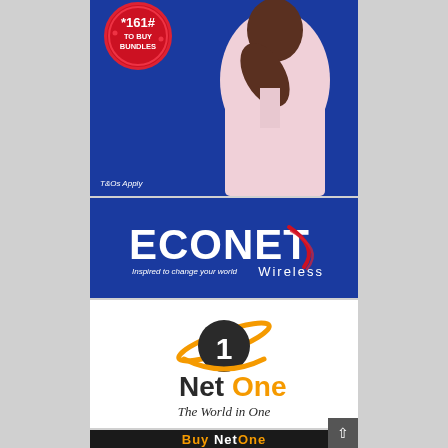[Figure (illustration): Econet Wireless advertisement showing a man in a pink shirt on a blue background with a red circular badge saying 'Dial to buy bundles' and text 'T&Os Apply']
[Figure (logo): Econet Wireless logo on dark blue background with swoosh graphic and tagline 'Inspired to change your world']
[Figure (logo): NetOne logo on white background with circular swoosh icon, text 'NetOne' and tagline 'The World in One']
[Figure (illustration): Black banner with orange and white text 'Buy NetOne']